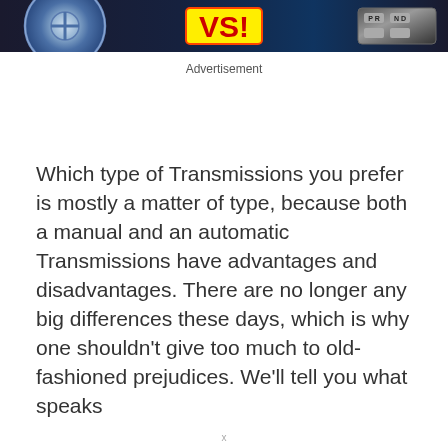[Figure (photo): Banner image showing manual vs automatic transmission comparison with steering wheel on left, VS badge in center, gear selector on right against dark background]
Advertisement
Which type of Transmissions you prefer is mostly a matter of type, because both a manual and an automatic Transmissions have advantages and disadvantages. There are no longer any big differences these days, which is why one shouldn't give too much to old-fashioned prejudices. We'll tell you what speaks